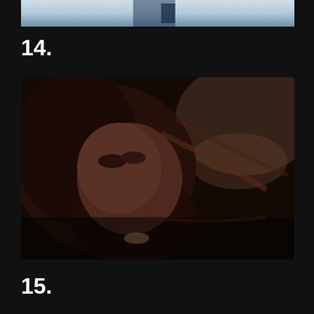[Figure (photo): Partial photo visible at top of page, cropped — shows blue/grey tones, appears to be part of a person or object against a light background]
14.
[Figure (photo): Dark-toned photograph of a person with long dark hair lying down, looking upward, dimly lit with reddish-brown tones]
15.